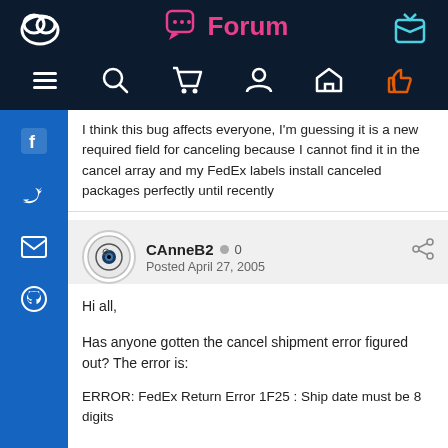Forum
I think this bug affects everyone, I'm guessing it is a new required field for canceling because I cannot find it in the cancel array and my FedEx labels install canceled packages perfectly until recently
CAnneB2  0
Posted April 27, 2005
Hi all,
Has anyone gotten the cancel shipment error figured out? The error is:
ERROR: FedEx Return Error 1F25 : Ship date must be 8 digits